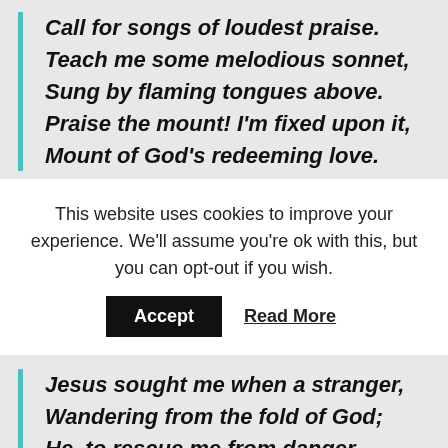Call for songs of loudest praise.
Teach me some melodious sonnet,
Sung by flaming tongues above.
Praise the mount! I'm fixed upon it,
Mount of God's redeeming love.
This website uses cookies to improve your experience. We'll assume you're ok with this, but you can opt-out if you wish. Accept Read More
Jesus sought me when a stranger,
Wandering from the fold of God;
He, to rescue me from danger,
Interposed His precious blood.